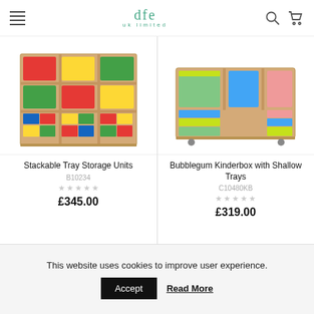dfe uk limited — navigation header with hamburger menu, logo, search icon, cart icon
[Figure (photo): Stackable Tray Storage Units — a wooden shelving unit filled with colourful plastic trays in yellow, green, blue, red, and orange arrangements]
Stackable Tray Storage Units
B10234
★★★★★ (empty stars rating)
£345.00
[Figure (photo): Bubblegum Kinderbox with Shallow Trays — a wooden box unit with coloured shallow trays in blue, green, lime, pink, and orange on the sides]
Bubblegum Kinderbox with Shallow Trays
C10480KB
★★★★★ (empty stars rating)
£319.00
This website uses cookies to improve user experience.
Accept  Read More